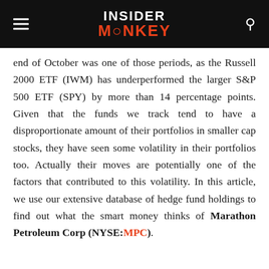INSIDER MONKEY
end of October was one of those periods, as the Russell 2000 ETF (IWM) has underperformed the larger S&P 500 ETF (SPY) by more than 14 percentage points. Given that the funds we track tend to have a disproportionate amount of their portfolios in smaller cap stocks, they have seen some volatility in their portfolios too. Actually their moves are potentially one of the factors that contributed to this volatility. In this article, we use our extensive database of hedge fund holdings to find out what the smart money thinks of Marathon Petroleum Corp (NYSE:MPC).